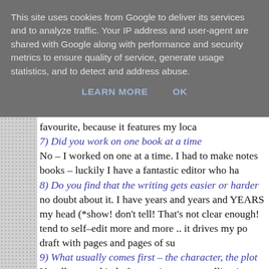This site uses cookies from Google to deliver its services and to analyze traffic. Your IP address and user-agent are shared with Google along with performance and security metrics to ensure quality of service, generate usage statistics, and to detect and address abuse.
LEARN MORE   OK
favourite, because it features my loca
7) Did you work on one book at a time
No – I worked on one at a time. I had to make notes books – luckily I have a fantastic editor who ha
8) Do you find that the writing gets easier or harder
no doubt about it. I have years and years and YEARS my head (*show! don't tell! That's not clear enough! tend to self-edit more and more .. it drives my po draft with pages and pages of su
9) What usually comes first – the character, the plot
Usually some kind of scenario starts unrolling in m from somewhere (who knows where?) and I have t Stargirl Academy I was dying to write about Fair where they com